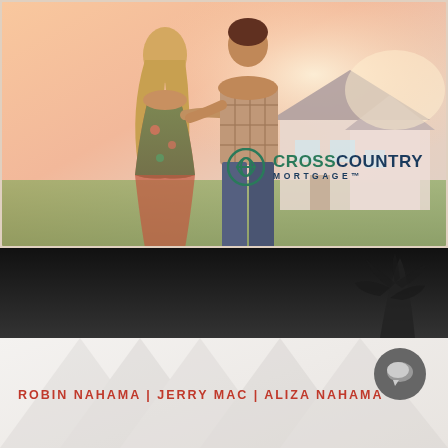[Figure (photo): Couple standing with arms around each other looking at a house in the background, warm sunset lighting. CrossCountry Mortgage logo overlaid in bottom right area of the photo.]
[Figure (photo): Dark background section with palm tree silhouette in lower right corner.]
[Figure (logo): Chat/message bubble icon in dark gray circle.]
ROBIN NAHAMA | JERRY MAC | ALIZA NAHAMA